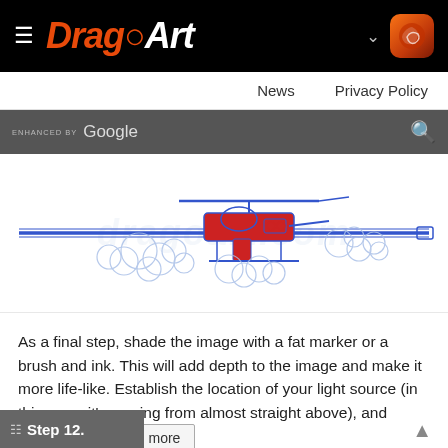DragoArt
News   Privacy Policy
ENHANCED BY Google
[Figure (illustration): Line drawing of a helicopter or aircraft with blue outlines and red accents, surrounded by cloud puffs, with a long horizontal gun barrel extending left and right. Watermark text 'dragoart.com' visible in background.]
As a final step, shade the image with a fat marker or a brush and ink. This will add depth to the image and make it more life-like. Establish the location of your light source (in this case, it's coming from almost straight above), and shade the oppo  more
Step 12.